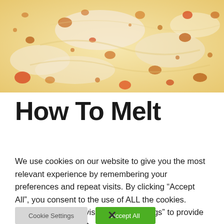[Figure (photo): Close-up photo of melted cheese on pizza, showing golden-brown bubbly cheese with orange-red sauce spots on a light creamy background.]
How To Melt
We use cookies on our website to give you the most relevant experience by remembering your preferences and repeat visits. By clicking “Accept All”, you consent to the use of ALL the cookies. However, you may visit “Cookie Settings” to provide a controlled consent.